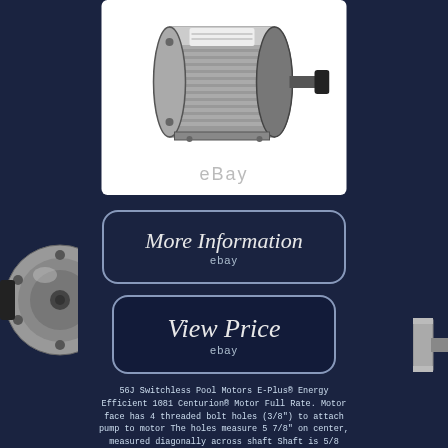[Figure (photo): Pool motor / electric motor product photo on white background with eBay watermark]
[Figure (photo): Side view of pool motor on left edge of page]
[Figure (photo): Side view of motor component on right edge of page]
More Information
ebay
View Price
ebay
56J Switchless Pool Motors E-Plus® Energy Efficient 1081 Centurion® Motor Full Rate. Motor face has 4 threaded bolt holes (3/8") to attach pump to motor The holes measure 5 7/8" on center, measured diagonally across shaft Shaft is 5/8 diameter with threads on end. These motors are common to inground swimming pool pump applications The impeller is threaded onto the shaft (standard threads).